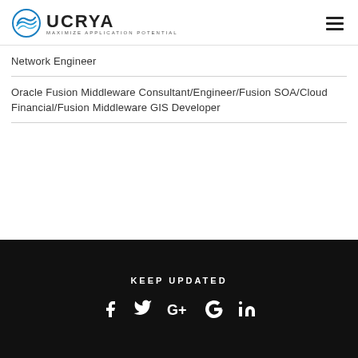[Figure (logo): UCRYA logo with circular wave icon and tagline MAXIMIZE APPLICATION POTENTIAL]
Network Engineer
Oracle Fusion Middleware Consultant/Engineer/Fusion SOA/Cloud Financial/Fusion Middleware GIS Developer
KEEP UPDATED — social icons: Facebook, Twitter, Google+, Google, LinkedIn